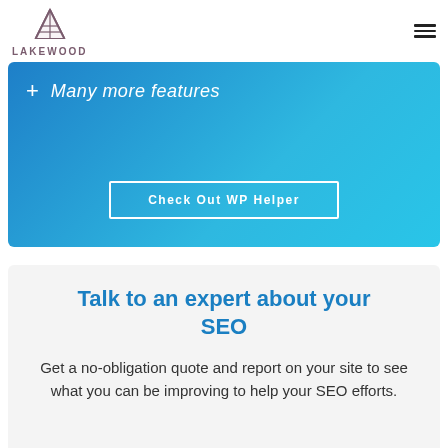LAKEWOOD
[Figure (other): Blue gradient banner with + Many more features text and Check Out WP Helper button]
Talk to an expert about your SEO
Get a no-obligation quote and report on your site to see what you can be improving to help your SEO efforts.